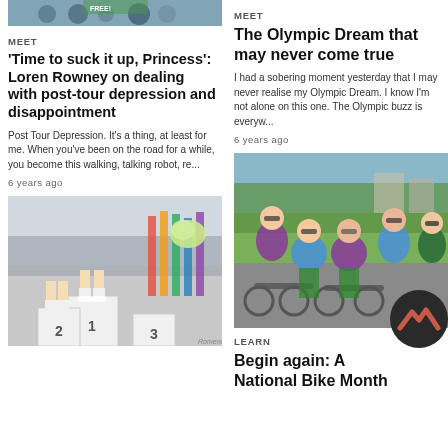[Figure (photo): Partial photo of people at top of left column]
MEET
'Time to suck it up, Princess': Loren Rowney on dealing with post-tour depression and disappointment
Post Tour Depression. It's a thing, at least for me. When you've been on the road for a while, you become this walking, talking robot, re...
6 years ago
[Figure (photo): Photo of cycling podium with riders holding flowers, positions 1, 2, 3]
MEET
The Olympic Dream that may never come true
I had a sobering moment yesterday that I may never realise my Olympic Dream. I know I'm not alone on this one. The Olympic buzz is everyw...
6 years ago
[Figure (photo): Group photo of cyclists in colorful cycling gear posing together outdoors]
LEARN
Begin again: A National Bike Month
[Figure (logo): Dark circular logo with red/salmon chevron/mountain mark]